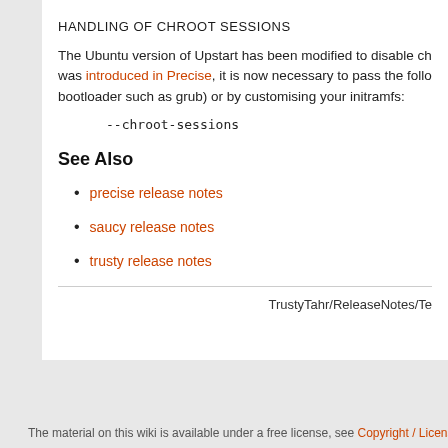HANDLING OF CHROOT SESSIONS
The Ubuntu version of Upstart has been modified to disable ch... was introduced in Precise, it is now necessary to pass the follo... bootloader such as grub) or by customising your initramfs:
See Also
precise release notes
saucy release notes
trusty release notes
TrustyTahr/ReleaseNotes/Te
The material on this wiki is available under a free license, see Copyright / License for d...